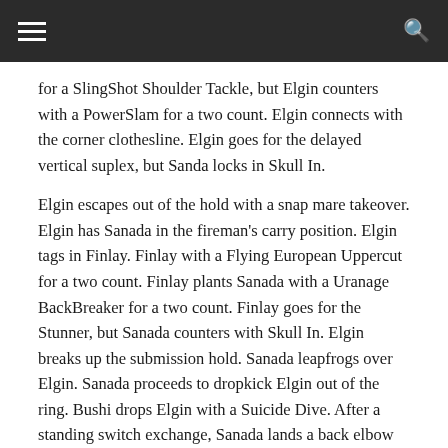for a SlingShot Shoulder Tackle, but Elgin counters with a PowerSlam for a two count. Elgin connects with the corner clothesline. Elgin goes for the delayed vertical suplex, but Sanda locks in Skull In.
Elgin escapes out of the hold with a snap mare takeover. Elgin has Sanada in the fireman's carry position. Elgin tags in Finlay. Finlay with a Flying European Uppercut for a two count. Finlay plants Sanada with a Uranage BackBreaker for a two count. Finlay goes for the Stunner, but Sanada counters with Skull In. Elgin breaks up the submission hold. Sanada leapfrogs over Elgin. Sanada proceeds to dropkick Elgin out of the ring. Bushi drops Elgin with a Suicide Dive. After a standing switch exchange, Sanada lands a back elbow strike in the corner. Sanada floats over into Skull In which forces Finlay to tap out.
Winner: Bushi & Sanada via Submission
Second Match: Hirai Kawato & Katsuya Kitamura vs. Hiromu Takahashi & EVIL